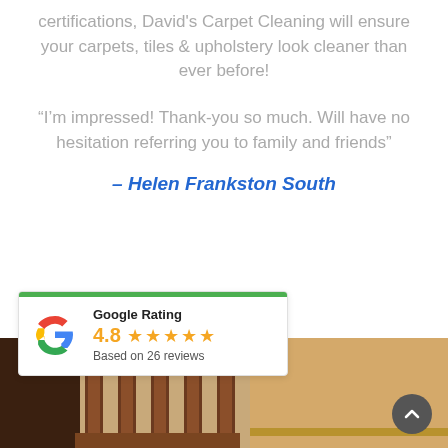certifications, David's Carpet Cleaning will ensure your carpets, tiles & upholstery look cleaner than ever before!
“I’m impressed! Thank-you so much. Will have no hesitation referring you to family and friends”
– Helen Frankston South
[Figure (other): Google Rating widget showing 4.8 stars based on 26 reviews, with green bar and Google G logo]
[Figure (photo): Background photo showing wooden stair banisters/railings in brown wood]